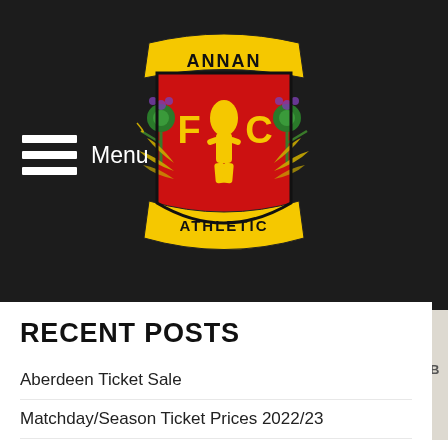[Figure (logo): Annan Athletic FC club crest/logo on dark header background]
Menu
ANNAN ATHLETIC FC > CLUB > NEWS HUB
RECENT POSTS
Aberdeen Ticket Sale
Matchday/Season Ticket Prices 2022/23
NEW SIGNING: Max Kilsby
Player Sponsorship 2022/23
Previous Posts...